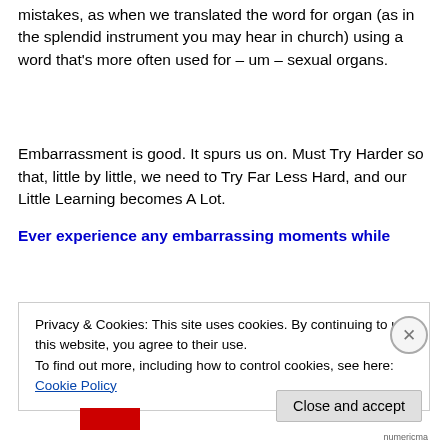mistakes, as when we translated the word for organ (as in the splendid instrument you may hear in church) using a word that's more often used for – um – sexual organs.
Embarrassment is good. It spurs us on. Must Try Harder so that, little by little, we need to Try Far Less Hard, and our Little Learning becomes A Lot.
Ever experience any embarrassing moments while
Privacy & Cookies: This site uses cookies. By continuing to use this website, you agree to their use.
To find out more, including how to control cookies, see here: Cookie Policy
Close and accept